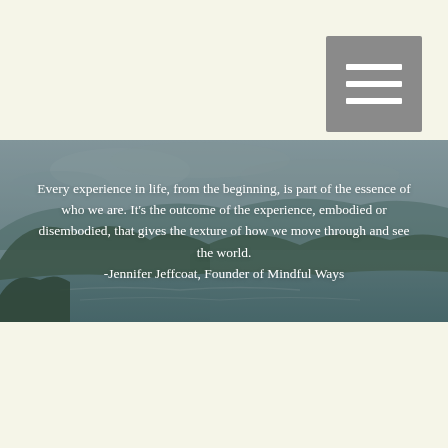[Figure (illustration): Hamburger menu icon button — three white horizontal lines on a gray square background, positioned in top-right corner of the page]
[Figure (photo): Landscape photo of misty mountains, hills and a lake or bay with cloudy sky; muted teal and green tones with an overlay; spans the full width of the page in the middle section]
Every experience in life, from the beginning, is part of the essence of who we are. It's the outcome of the experience, embodied or disembodied, that gives the texture of how we move through and see the world. -Jennifer Jeffcoat, Founder of Mindful Ways